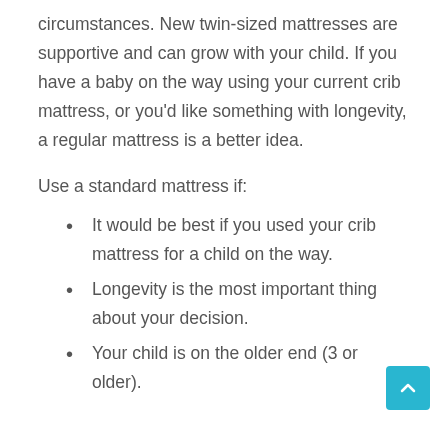circumstances. New twin-sized mattresses are supportive and can grow with your child. If you have a baby on the way using your current crib mattress, or you'd like something with longevity, a regular mattress is a better idea.
Use a standard mattress if:
It would be best if you used your crib mattress for a child on the way.
Longevity is the most important thing about your decision.
Your child is on the older end (3 or older).